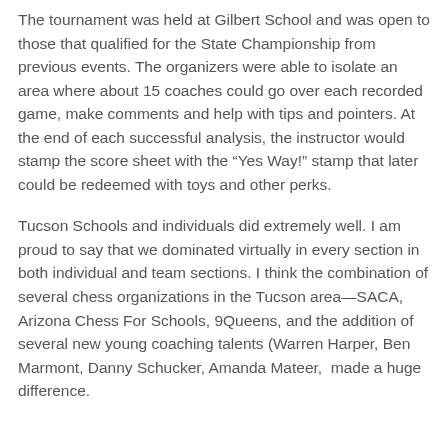The tournament was held at Gilbert School and was open to those that qualified for the State Championship from previous events. The organizers were able to isolate an area where about 15 coaches could go over each recorded game, make comments and help with tips and pointers. At the end of each successful analysis, the instructor would stamp the score sheet with the “Yes Way!” stamp that later could be redeemed with toys and other perks.
Tucson Schools and individuals did extremely well. I am proud to say that we dominated virtually in every section in both individual and team sections. I think the combination of several chess organizations in the Tucson area—SACA, Arizona Chess For Schools, 9Queens, and the addition of several new young coaching talents (Warren Harper, Ben Marmont, Danny Schucker, Amanda Mateer,  made a huge difference.